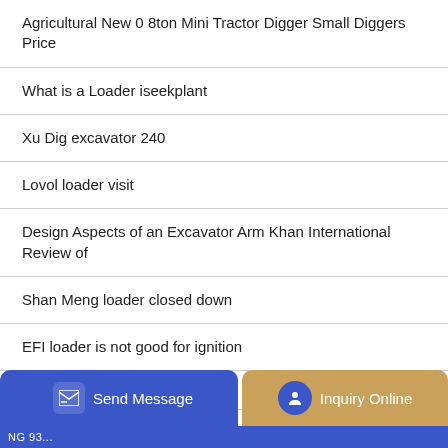Agricultural New 0 8ton Mini Tractor Digger Small Diggers Price
What is a Loader iseekplant
Xu Dig excavator 240
Lovol loader visit
Design Aspects of an Excavator Arm Khan International Review of
Shan Meng loader closed down
EFI loader is not good for ignition
Small SINBON Loader
Send Message   Inquiry Online